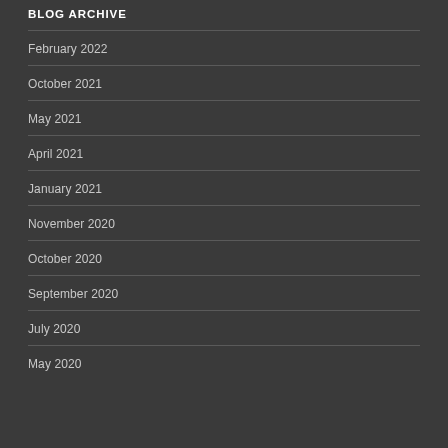BLOG ARCHIVE
February 2022
October 2021
May 2021
April 2021
January 2021
November 2020
October 2020
September 2020
July 2020
May 2020